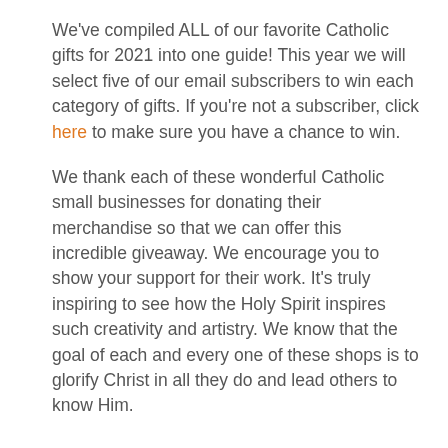We've compiled ALL of our favorite Catholic gifts for 2021 into one guide! This year we will select five of our email subscribers to win each category of gifts. If you're not a subscriber, click here to make sure you have a chance to win.
We thank each of these wonderful Catholic small businesses for donating their merchandise so that we can offer this incredible giveaway. We encourage you to show your support for their work. It's truly inspiring to see how the Holy Spirit inspires such creativity and artistry. We know that the goal of each and every one of these shops is to glorify Christ in all they do and lead others to know Him.